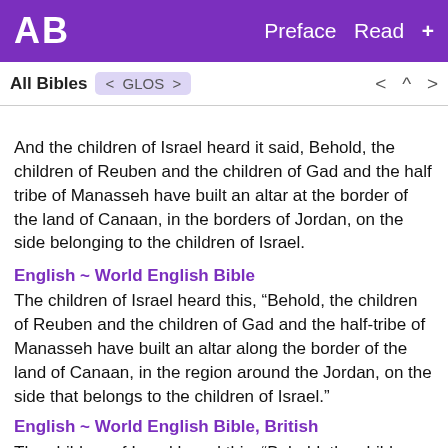AB  Preface  Read  +
All Bibles  < GLOS >  < ^ >
And the children of Israel heard it said, Behold, the children of Reuben and the children of Gad and the half tribe of Manasseh have built an altar at the border of the land of Canaan, in the borders of Jordan, on the side belonging to the children of Israel.
English ~ World English Bible
The children of Israel heard this, “Behold, the children of Reuben and the children of Gad and the half-tribe of Manasseh have built an altar along the border of the land of Canaan, in the region around the Jordan, on the side that belongs to the children of Israel.”
English ~ World English Bible, British
The children of Israel heard this, “Behold, the children of Reuben and the children of Gad and the half-tribe of...